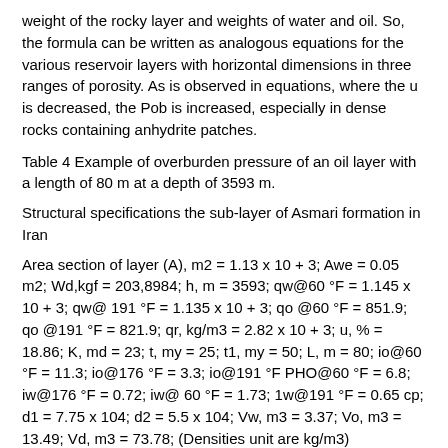weight of the rocky layer and weights of water and oil. So, the formula can be written as analogous equations for the various reservoir layers with horizontal dimensions in three ranges of porosity. As is observed in equations, where the u is decreased, the Pob is increased, especially in dense rocks containing anhydrite patches.
Table 4 Example of overburden pressure of an oil layer with a length of 80 m at a depth of 3593 m.
Structural specifications the sub-layer of Asmari formation in Iran
Area section of layer (A), m2 = 1.13 x 10 + 3; Awe = 0.05 m2; Wd,kgf = 203,8984; h, m = 3593; qw@60 °F = 1.145 x 10 + 3; qw@ 191 °F = 1.135 x 10 + 3; qo @60 °F = 851.9; qo @191 °F = 821.9; qr, kg/m3 = 2.82 x 10 + 3; u, % = 18.86; K, md = 23; t, my = 25; t1, my = 50; L, m = 80; io@60 °F = 11.3; io@176 °F = 3.3; io@191 °F PHO@60 °F = 6.8; iw@176 °F = 0.72; iw@ 60 °F = 1.73; 1w@191 °F = 0.65 cp; d1 = 7.75 x 104; d2 = 5.5 x 104; Vw, m3 = 3.37; Vo, m3 = 13.49; Vd, m3 = 73.78; (Densities unit are kg/m3)
Solution